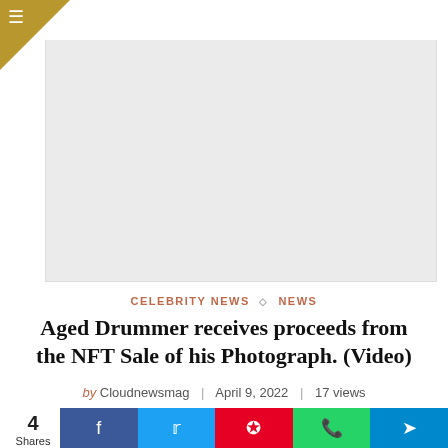≡
[Figure (photo): Large image placeholder area (light gray background), likely a header image for the article about an aged drummer and NFT sale.]
CELEBRITY NEWS ◇ NEWS
Aged Drummer receives proceeds from the NFT Sale of his Photograph. (Video)
by Cloudnewsmag | April 9, 2022 | 17 views
4 Shares